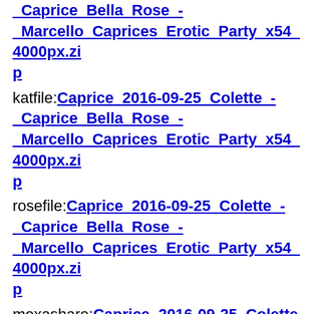_Caprice_Bella_Rose_-_Marcello_Caprices_Erotic_Party_x54_4000px.zip (link, truncated at top)
katfile:Caprice_2016-09-25_Colette_-_Caprice_Bella_Rose_-_Marcello_Caprices_Erotic_Party_x54_4000px.zip
rosefile:Caprice_2016-09-25_Colette_-_Caprice_Bella_Rose_-_Marcello_Caprices_Erotic_Party_x54_4000px.zip
mexashare:Caprice_2016-09-25_Colette_-_Caprice_Bella_Rose_-_Marcello_Caprices_Erotic_Party_x54_4000px.zip
wupfile:Caprice_2016-09-25_Colette_-_Caprice_Bella_Rose_- (truncated at bottom)